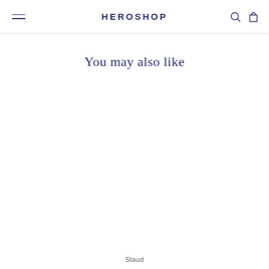HEROSHOP
You may also like
Staud